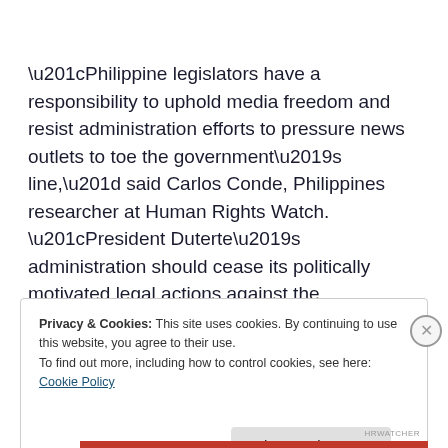“Philippine legislators have a responsibility to uphold media freedom and resist administration efforts to pressure news outlets to toe the government’s line,” said Carlos Conde, Philippines researcher at Human Rights Watch. “President Duterte’s administration should cease its politically motivated legal actions against the network.”
Privacy & Cookies: This site uses cookies. By continuing to use this website, you agree to their use.
To find out more, including how to control cookies, see here: Cookie Policy